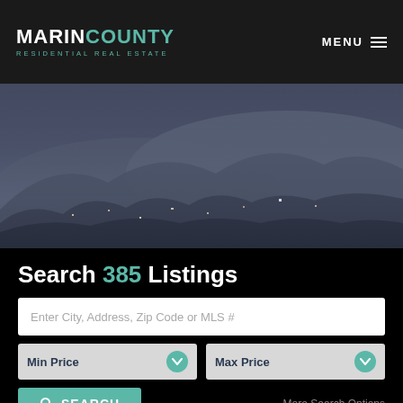MarinCounty Residential Real Estate | MENU
[Figure (photo): Aerial/hillside view of Marin County residential neighborhood at dusk, with houses on rolling hills and trees in the background, dark blue-grey twilight sky]
Search 385 Listings
Enter City, Address, Zip Code or MLS #
Min Price
Max Price
SEARCH
More Search Options